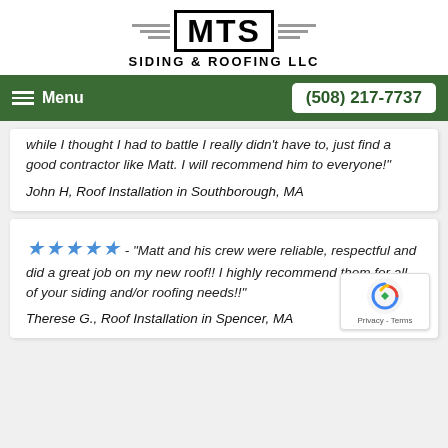[Figure (logo): MTS Siding & Roofing LLC logo with decorative wings and bold MTS text in a box]
Menu   (508) 217-7737
while I thought I had to battle I really didn't have to, just find a good contractor like Matt. I will recommend him to everyone!"
John H, Roof Installation in Southborough, MA
★★★★★ - "Matt and his crew were reliable, respectful and did a great job on my new roof!! I highly recommend them for all of your siding and/or roofing needs!!"
Therese G., Roof Installation in Spencer, MA